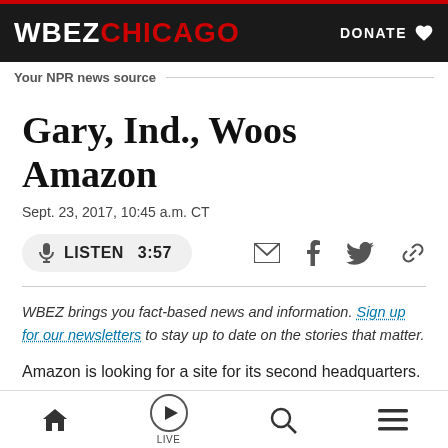WBEZ CHICAGO — DONATE
Your NPR news source
Gary, Ind., Woos Amazon
Sept. 23, 2017, 10:45 a.m. CT
LISTEN 3:57
WBEZ brings you fact-based news and information. Sign up for our newsletters to stay up to date on the stories that matter.
Amazon is looking for a site for its second headquarters. NPR's Scott Simon talks to Max Grinnell, who teaches
Home · LIVE · Search · Menu